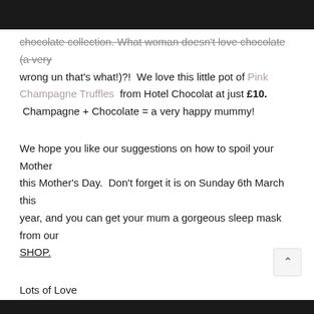chocolate collection. What woman doesn't love chocolate (a very wrong un that's what!)?! We love this little pot of Pink Champagne Truffles from Hotel Chocolat at just £10. Champagne + Chocolate = a very happy mummy!
We hope you like our suggestions on how to spoil your Mother this Mother's Day. Don't forget it is on Sunday 6th March this year, and you can get your mum a gorgeous sleep mask from our SHOP.
Lots of Love
Betty and Team Blue's xxx
tagged in AGATHA COLLECTION, AGATHA EYEMASK, AGATHA SLEEPMASK, AW15, EYE MASK, EYEMASK, FORTNUM AND MASON, HOTEL CHOCOLAT, LENNOX COLLECTION, LENNOX EYEMASK, LENNOX SLEEPMASK, LIZ B, M&S, MARKS AND SPENCER, MOM, MOTHERING SUNDAY, MOTHERS DAY, MOTHERS DAY INSPIRATION, MUMMY, RECEIPT FOR AUTOGRAPH BOOK